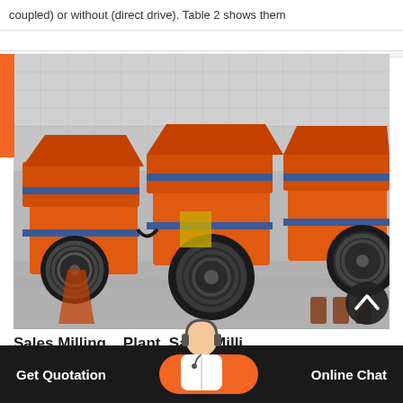coupled) or without (direct drive). Table 2 shows them
[Figure (photo): Multiple orange industrial hammer mills / crushers with belt-drive pulleys arranged in an outdoor/warehouse setting. Machines are painted orange with blue trim, featuring large flywheels and feed hoppers.]
Sales Milling... Plant Sales Milli...
Get Quotation   Online Chat